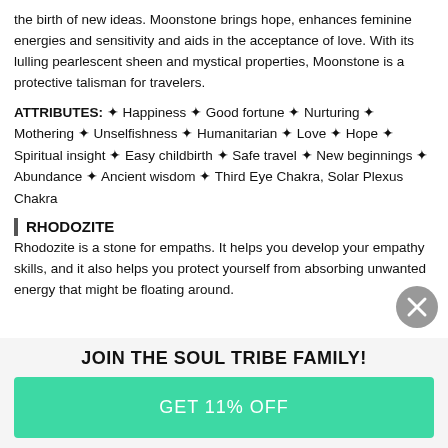the birth of new ideas. Moonstone brings hope, enhances feminine energies and sensitivity and aids in the acceptance of love. With its lulling pearlescent sheen and mystical properties, Moonstone is a protective talisman for travelers.
ATTRIBUTES: ✦ Happiness ✦ Good fortune ✦ Nurturing ✦ Mothering ✦ Unselfishness ✦ Humanitarian ✦ Love ✦ Hope ✦ Spiritual insight ✦ Easy childbirth ✦ Safe travel ✦ New beginnings ✦ Abundance ✦ Ancient wisdom ✦ Third Eye Chakra, Solar Plexus Chakra
RHODOZITE
Rhodozite is a stone for empaths. It helps you develop your empathy skills, and it also helps you protect yourself from absorbing unwanted energy that might be floating around.
JOIN THE SOUL TRIBE FAMILY!
GET 11% OFF